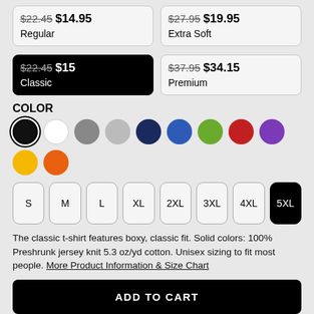$22.45 $14.95 Regular
$27.95 $19.95 Extra Soft
$22.45 $15 Classic (selected)
$37.95 $34.15 Premium
COLOR
[Figure (other): Color swatches: black (selected), white, gray, light gray, navy, blue, green, red, purple, yellow, orange]
Size options: S, M, L, XL, 2XL, 3XL, 4XL, 5XL (5XL selected)
The classic t-shirt features boxy, classic fit. Solid colors: 100% Preshrunk jersey knit 5.3 oz/yd cotton. Unisex sizing to fit most people. More Product Information & Size Chart
ADD TO CART